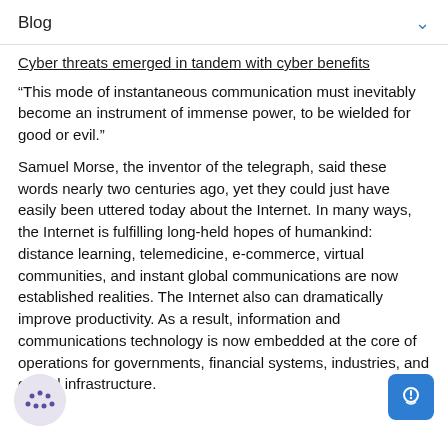Blog
Cyber threats emerged in tandem with cyber benefits
“This mode of instantaneous communication must inevitably become an instrument of immense power, to be wielded for good or evil.”
Samuel Morse, the inventor of the telegraph, said these words nearly two centuries ago, yet they could just have easily been uttered today about the Internet. In many ways, the Internet is fulfilling long-held hopes of humankind: distance learning, telemedicine, e-commerce, virtual communities, and instant global communications are now established realities. The Internet also can dramatically improve productivity. As a result, information and communications technology is now embedded at the core of operations for governments, financial systems, industries, and critical infrastructure.